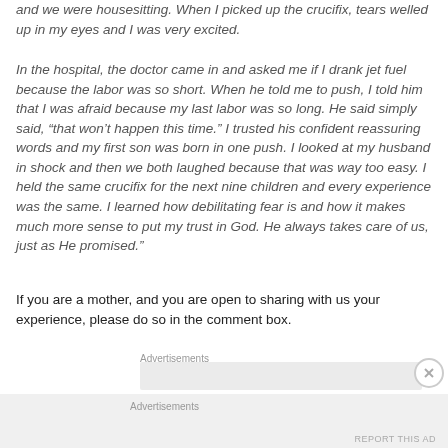and we were housesitting. When I picked up the crucifix, tears welled up in my eyes and I was very excited.
In the hospital, the doctor came in and asked me if I drank jet fuel because the labor was so short. When he told me to push, I told him that I was afraid because my last labor was so long. He said simply said, “that won’t happen this time.” I trusted his confident reassuring words and my first son was born in one push. I looked at my husband in shock and then we both laughed because that was way too easy. I held the same crucifix for the next nine children and every experience was the same. I learned how debilitating fear is and how it makes much more sense to put my trust in God. He always takes care of us, just as He promised.”
If you are a mother, and you are open to sharing with us your experience, please do so in the comment box.
Advertisements
[Figure (other): Advertisement placeholder box (gray rectangle)]
Advertisements
[Figure (other): Advertisement placeholder area (light gray background)]
REPORT THIS AD